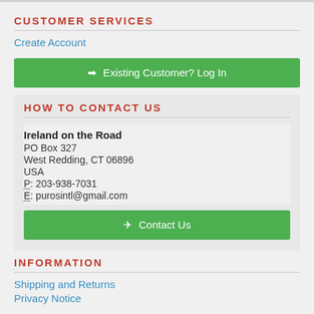CUSTOMER SERVICES
Create Account
➡ Existing Customer? Log In
HOW TO CONTACT US
Ireland on the Road
PO Box 327
West Redding, CT 06896
USA
P: 203-938-7031
E: purosintl@gmail.com
✈ Contact Us
INFORMATION
Shipping and Returns
Privacy Notice